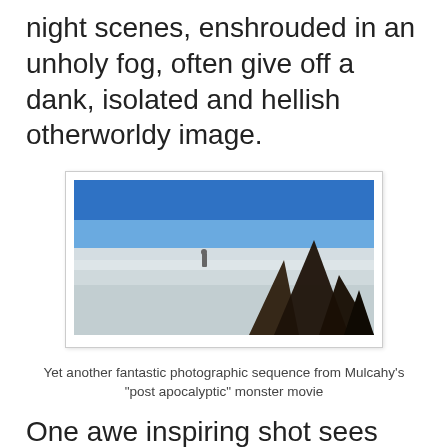night scenes, enshrouded in an unholy fog, often give off a dank, isolated and hellish otherworldy image.
[Figure (photo): A wide landscape photograph showing a cracked, flat terrain under a blue sky with a small human figure standing in the distance. Large dark cracks cut diagonally across the right side of the image.]
Yet another fantastic photographic sequence from Mulcahy's "post apocalyptic" monster movie
One awe inspiring shot sees Harrison running through the outback amidst a dense fog and what appears to be two moons in the sky. A tree supports the weight of a car trapped atop its branches. A scene later in the film confirms how it could have gotten there. Another